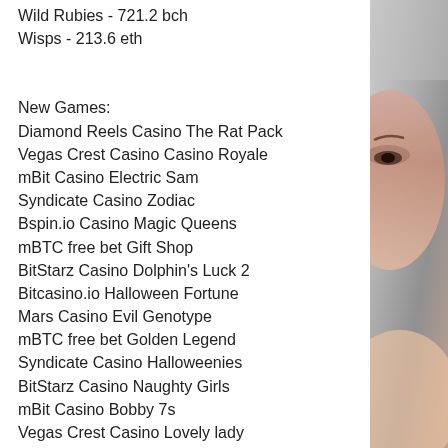Wild Rubies - 721.2 bch
Wisps - 213.6 eth
New Games:
Diamond Reels Casino The Rat Pack
Vegas Crest Casino Casino Royale
mBit Casino Electric Sam
Syndicate Casino Zodiac
Bspin.io Casino Magic Queens
mBTC free bet Gift Shop
BitStarz Casino Dolphin's Luck 2
Bitcasino.io Halloween Fortune
Mars Casino Evil Genotype
mBTC free bet Golden Legend
Syndicate Casino Halloweenies
BitStarz Casino Naughty Girls
mBit Casino Bobby 7s
Vegas Crest Casino Lovely lady
Syndicate Casino Cuba Caliente
https://www.mindbodybreathesoul.com/profile/
[Figure (photo): Close-up photo of a woman's face and shoulder, cropped on the right side of the page]